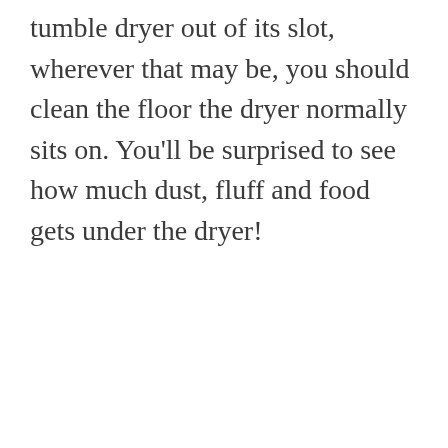tumble dryer out of its slot, wherever that may be, you should clean the floor the dryer normally sits on. You'll be surprised to see how much dust, fluff and food gets under the dryer!